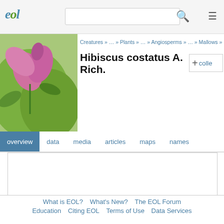EOL | Hibiscus costatus A. Rich.
Creatures » … » Plants » … » Angiosperms » … » Mallows » …
Hibiscus costatus A. Rich.
[Figure (photo): Photo of Hibiscus costatus A. Rich. showing pink flower and green foliage]
[Figure (map): Leaflet map showing known occurrences and collected specimens of Hibiscus costatus A. Rich., showing South America region. Attribution: Leaflet | © OpenStreetMap contributors]
Known occurrences, collected specimens and observations of Hibiscus costatus A. Rich.. View this species on GBIF
What is EOL? What's New? The EOL Forum Education Citing EOL Terms of Use Data Services